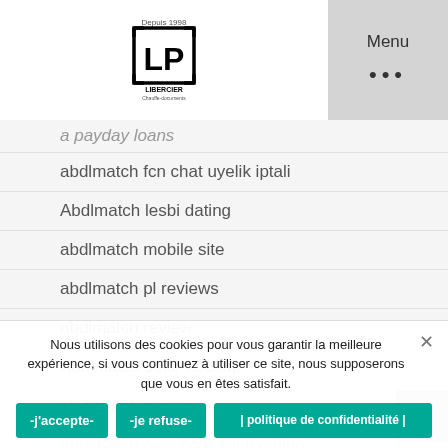LP Libercier - Menu
a payday loans
abdlmatch fcn chat uyelik iptali
Abdlmatch lesbi dating
abdlmatch mobile site
abdlmatch pl reviews
abdlmatch review
Abdlmatch seite hookup
abdlmatch sign in
abdlmatch-overzicht adult dating
Nous utilisons des cookies pour vous garantir la meilleure expérience, si vous continuez à utiliser ce site, nous supposerons que vous en êtes satisfait.
-j'accepte-
-je refuse-
| politique de confidentialité |